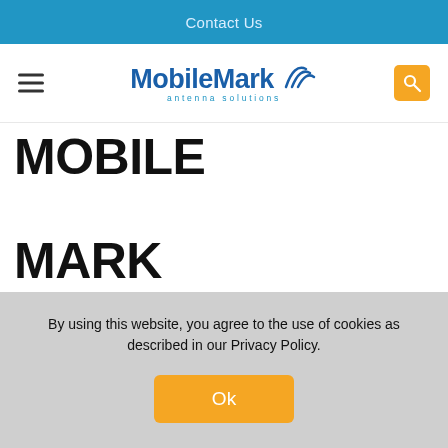Contact Us
[Figure (logo): MobileMark antenna solutions logo with signal wave graphic]
MOBILE MARK INTRODUCES THE MOST LOW-PROFILE BASE STATION FOR CBRS, C-BAND, & PRIVATE NETWORKS THE BBNCS
By using this website, you agree to the use of cookies as described in our Privacy Policy.
Ok